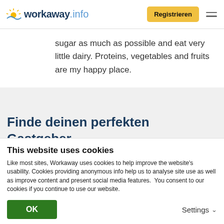workaway.info — Registrieren
sugar as much as possible and eat very little dairy. Proteins, vegetables and fruits are my happy place.
Finde deinen perfekten Gastgeber
[Figure (photo): Row of four thumbnail photos of hosts/locations]
This website uses cookies
Like most sites, Workaway uses cookies to help improve the website's usability. Cookies providing anonymous info help us to analyse site use as well as improve content and present social media features.  You consent to our cookies if you continue to use our website.
OK    Settings